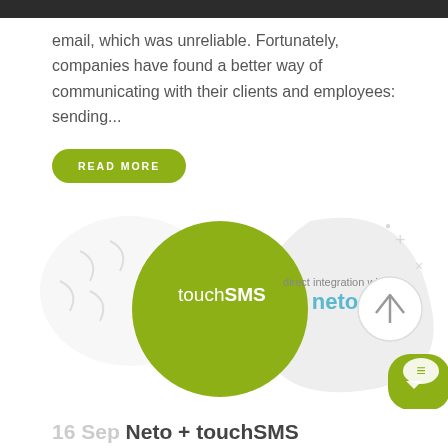email, which was unreliable. Fortunately, companies have found a better way of communicating with their clients and employees: sending...
READ MORE
[Figure (illustration): touchSMS logo (white text on lime green circle) overlapping with a grey blob shape containing 'direct integration with neto' text in grey/blue, plus a grey circular arrow button and a lime green rounded square chat icon]
16 Sep Neto + touchSMS